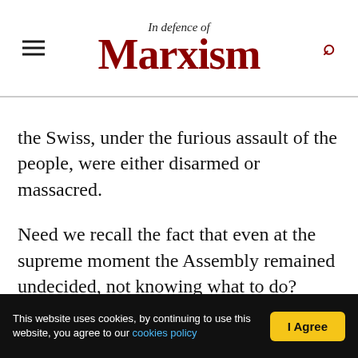In Defence of Marxism
the Swiss, under the furious assault of the people, were either disarmed or massacred.

Need we recall the fact that even at the supreme moment the Assembly remained undecided, not knowing what to do? They acted only when the armed people burst into the hall where they were sitting threatening to kill the King and his family, as well as the deputies who did not dare to pronounce the dethronement. Even after the Tuileries had been taken and when royalty no longer existed in fact, the Girondins, who formerly had loved to orate about the Republic, still hesitated to face any
This website uses cookies, by continuing to use this website, you agree to our cookies policy